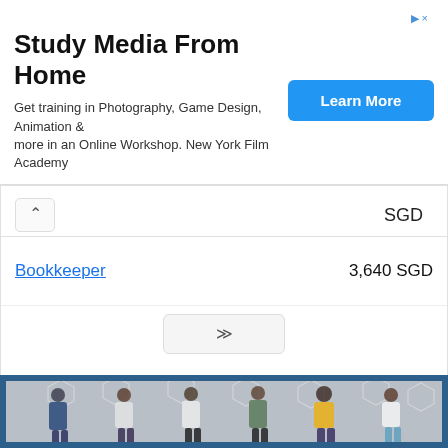[Figure (infographic): Advertisement banner for New York Film Academy - Study Media From Home]
Study Media From Home
Get training in Photography, Game Design, Animation & more in an Online Workshop. New York Film Academy
|  | SGD |
| --- | --- |
| Bookkeeper | 3,640 SGD |
[Figure (photo): Six young people standing against a concrete wall, each looking at their smartphones, with digital social media icons overlaid on the background]